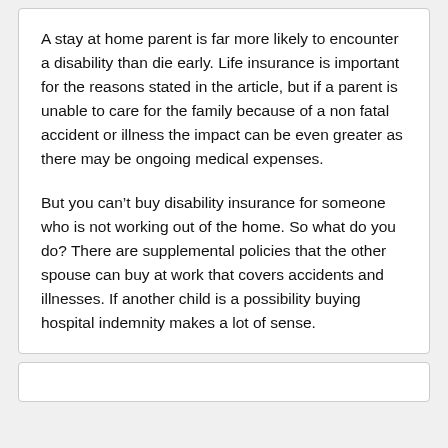A stay at home parent is far more likely to encounter a disability than die early. Life insurance is important for the reasons stated in the article, but if a parent is unable to care for the family because of a non fatal accident or illness the impact can be even greater as there may be ongoing medical expenses.
But you can't buy disability insurance for someone who is not working out of the home. So what do you do? There are supplemental policies that the other spouse can buy at work that covers accidents and illnesses. If another child is a possibility buying hospital indemnity makes a lot of sense.